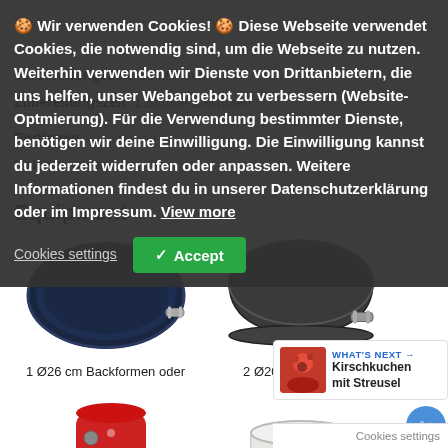Wir verwenden Cookies! Diese Webseite verwendet Cookies, die notwendig sind, um die Webseite zu nutzen. Weiterhin verwenden wir Dienste von Drittanbietern, die uns helfen, unser Webangebot zu verbessern (Website-Optmierung). Für die Verwendung bestimmter Dienste, benötigen wir deine Einwilligung. Die Einwilligung kannst du jederzeit widerrufen oder anpassen. Weitere Informationen findest du in unserer Datenschutzerklärung oder im Impressum. View more
Cookies settings  ✓ Accept
Equipment
[Figure (photo): Dark blue non-stick springform baking pan, 26cm diameter]
1 Ø26 cm Backformen oder
[Figure (photo): Dark grey non-stick springform baking pan, 20cm diameter]
2 Ø20 cm Backform
[Figure (photo): Red KitchenAid stand mixer with silver bowl]
Küchonmaschine
[Figure (photo): White ceramic colander/strainer on pedestal]
Sieb
WHAT'S NEXT → Kirschkuchen mit Streusel
Cookies settings